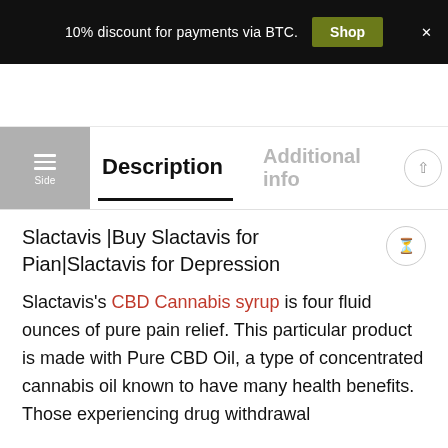10% discount for payments via BTC.  Shop  ×
Description   Additional information
Slactavis |Buy Slactavis for Pian|Slactavis for Depression
Slactavis's CBD Cannabis syrup is four fluid ounces of pure pain relief. This particular product is made with Pure CBD Oil, a type of concentrated cannabis oil known to have many health benefits. Those experiencing drug withdrawal